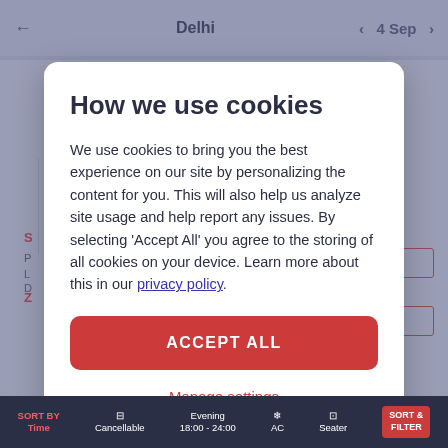Delhi  ←   4 Sep  ‹  ›
How we use cookies
We use cookies to bring you the best experience on our site by personalizing the content for you. This will also help us analyze site usage and help report any issues. By selecting 'Accept All' you agree to the storing of all cookies on your device. Learn more about this in our privacy policy.
ACCEPT ALL
Manage settings
SORT BY Time   Cancellable   Evening 18:00 - 24:00   AC   Seater   SORT & FILTER